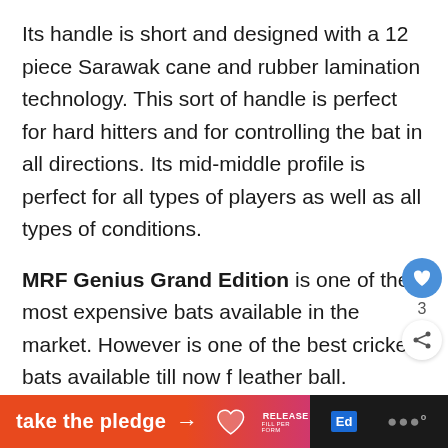Its handle is short and designed with a 12 piece Sarawak cane and rubber lamination technology. This sort of handle is perfect for hard hitters and for controlling the bat in all directions. Its mid-middle profile is perfect for all types of players as well as all types of conditions.
MRF Genius Grand Edition is one of the most expensive bats available in the market. However is one of the best cricket bats available till now f leather ball.
[Figure (other): Floating UI elements: a blue circular heart/like button, a count label '3', and a white circular share button with a share icon]
[Figure (other): Bottom banner with orange-to-pink gradient on left side reading 'take the pledge' with arrow, and dark right side with RELEASE logo, Ed logo, and dots logo]